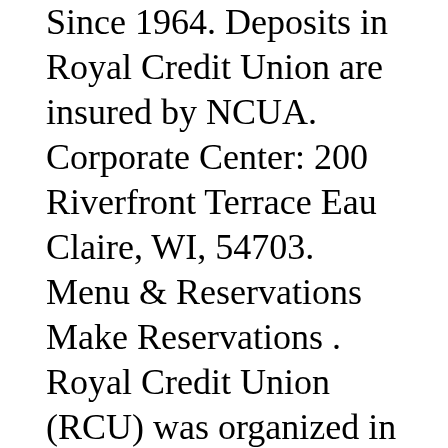Since 1964. Deposits in Royal Credit Union are insured by NCUA. Corporate Center: 200 Riverfront Terrace Eau Claire, WI, 54703. Menu & Reservations Make Reservations . Royal Credit Union (RCU) was organized in April 1964 to serve employees of Uniroyal and their families. Reviews (715) 483-3303 Website. You can now log in to personal or business online banking from the same spot!! Blue Cash Preferred® Card from American Express. Royal Credit Union Menomonie WI 2615 Hils Court 54751 715-235-0180. Weekdays 8:30 A.M. - 7 P.M. Royal Credit Union Star Prairie WI 100 Main Street 54026 800-341-9911. In today's world, you need a financial partner who has your back. Royal Credit Union was organized